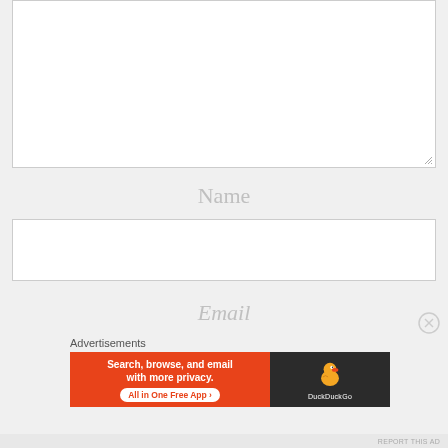[Figure (screenshot): Empty white textarea input field with resize handle at bottom right]
Name
[Figure (screenshot): Empty white text input field for Name]
Email
Advertisements
[Figure (screenshot): DuckDuckGo advertisement banner: 'Search, browse, and email with more privacy. All in One Free App' with DuckDuckGo logo on dark background]
REPORT THIS AD